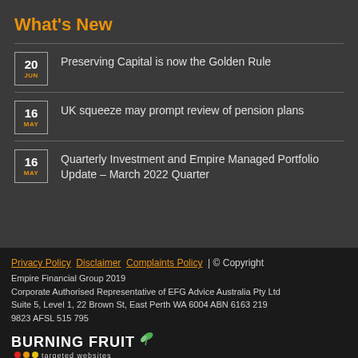What's New
20 JUN — Preserving Capital is now the Golden Rule
16 MAY — UK squeeze may prompt review of pension plans
16 MAY — Quarterly Investment and Empire Managed Portfolio Update – March 2022 Quarter
Privacy Policy  Disclaimer  Complaints Policy  | © Copyright Empire Financial Group 2019 Corporate Authorised Representative of EFG Advice Australia Pty Ltd Suite 5, Level 1, 22 Brown St, East Perth WA 6004 ABN 6163 219 9823 AFSL 515 795
[Figure (logo): Burning Fruit targeted websites logo with leaf icon and coloured dots]